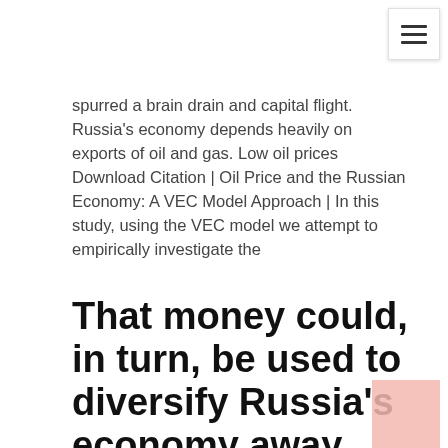spurred a brain drain and capital flight. Russia's economy depends heavily on exports of oil and gas. Low oil prices Download Citation | Oil Price and the Russian Economy: A VEC Model Approach | In this study, using the VEC model we attempt to empirically investigate the
That money could, in turn, be used to diversify Russia's economy away from oil dependence and into higher-value industries like technology. But others said that scenario is only wishful